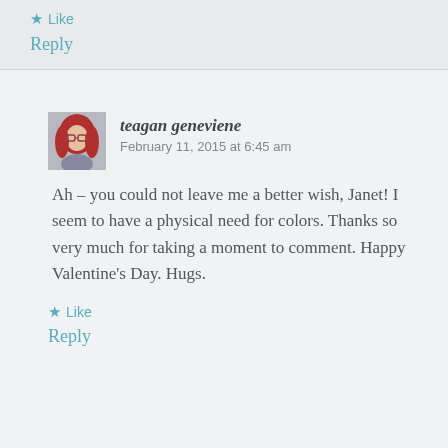★ Like
Reply
[Figure (photo): Avatar photo of teagan geneviene, a woman with red hair and glasses]
teagan geneviene   February 11, 2015 at 6:45 am
Ah – you could not leave me a better wish, Janet! I seem to have a physical need for colors. Thanks so very much for taking a moment to comment. Happy Valentine's Day. Hugs.
★ Like
Reply